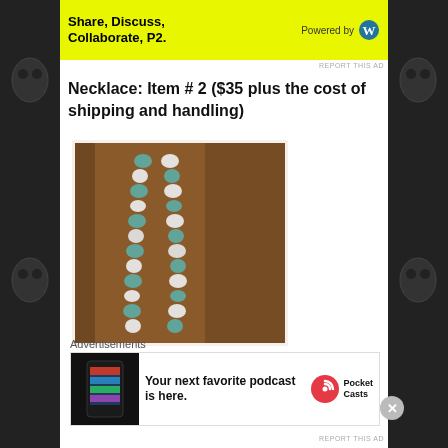[Figure (screenshot): Yellow WordPress P2 advertisement banner at top: 'Share, Discuss, Collaborate, P2. Powered by WordPress']
REPORT THIS AD
Necklace: Item # 2 ($35 plus the cost of shipping and handling)
[Figure (photo): Photo of a turquoise and white beaded necklace laid on a brown surface, shown with two strands side by side.]
Advertisements
[Figure (screenshot): Pocket Casts advertisement banner: 'Your next favorite podcast is here.' with Pocket Casts logo]
REPORT THIS AD